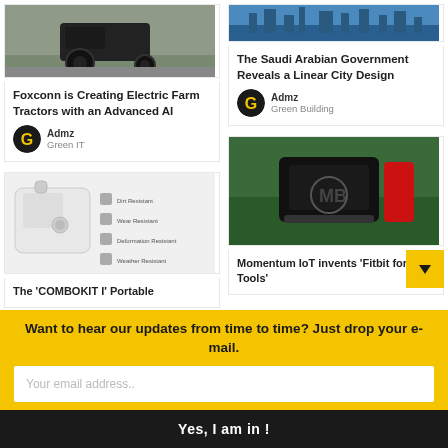[Figure (photo): Photo of a black electric farm tractor on a road]
Foxconn is Creating Electric Farm Tractors with an Advanced AI
Admz
Green IT
[Figure (photo): Blue rendering of a linear city design by The Saudi Arabian Government]
The Saudi Arabian Government Reveals a Linear City Design
Admz
Green Building
[Figure (photo): White portable device COMBOKIT I with feature labels: Dirt Resistant, Wear Resistant, Deformation Resistant, Weather Resistant]
The 'COMBOKIT I' Portable
[Figure (photo): Black and red power tool on grass - Momentum IoT Fitbit for Tools]
Momentum IoT invents 'Fitbit for Tools'
Want to hear our updates from time to time? Just drop your e-mail.